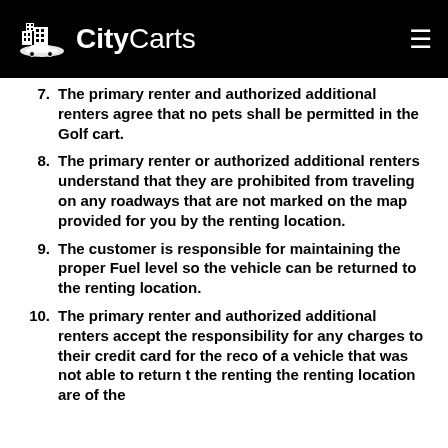CityCarts
7. The primary renter and authorized additional renters agree that no pets shall be permitted in the Golf cart.
8. The primary renter or authorized additional renters understand that they are prohibited from traveling on any roadways that are not marked on the map provided for you by the renting location.
9. The customer is responsible for maintaining the proper Fuel level so the vehicle can be returned to the renting location.
10. The primary renter and authorized additional renters accept the responsibility for any charges to their credit card for the reco... of a vehicle that was not able to return t... the renting the renting location are of the...